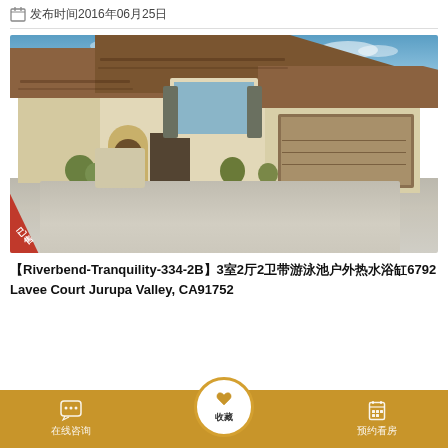发布时间2016年06月25日
[Figure (photo): Single-story stucco house with tile roof, arched entry, two-car garage, and landscaped driveway. Red 'sold/已售' corner badge on lower left.]
【Riverbend-Tranquility-334-2B】3室2厅2卫带游泳池户外热水浴缸6792 Lavee Court Jurupa Valley, CA91752
在线咨询  收藏  预约看房